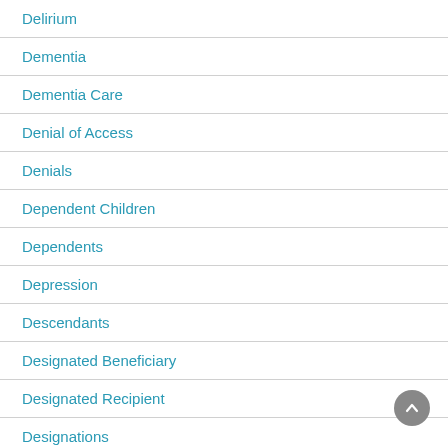Delirium
Dementia
Dementia Care
Denial of Access
Denials
Dependent Children
Dependents
Depression
Descendants
Designated Beneficiary
Designated Recipient
Designations
Digital...